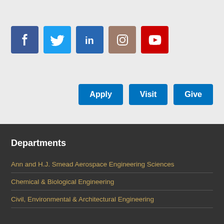[Figure (other): Social media icons: Facebook (blue), Twitter (light blue), LinkedIn (blue), Instagram (brown/mauve), YouTube (red)]
Apply  Visit  Give
Departments
Ann and H.J. Smead Aerospace Engineering Sciences
Chemical & Biological Engineering
Civil, Environmental & Architectural Engineering